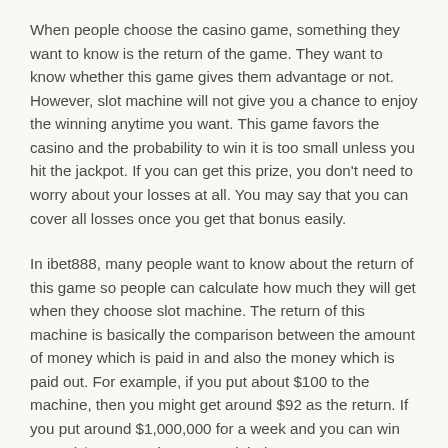When people choose the casino game, something they want to know is the return of the game. They want to know whether this game gives them advantage or not. However, slot machine will not give you a chance to enjoy the winning anytime you want. This game favors the casino and the probability to win it is too small unless you hit the jackpot. If you can get this prize, you don't need to worry about your losses at all. You may say that you can cover all losses once you get that bonus easily.
In ibet888, many people want to know about the return of this game so people can calculate how much they will get when they choose slot machine. The return of this machine is basically the comparison between the amount of money which is paid in and also the money which is paid out. For example, if you put about $100 to the machine, then you might get around $92 as the return. If you put around $1,000,000 for a week and you can win around $967,000, the return might be 96.7%.